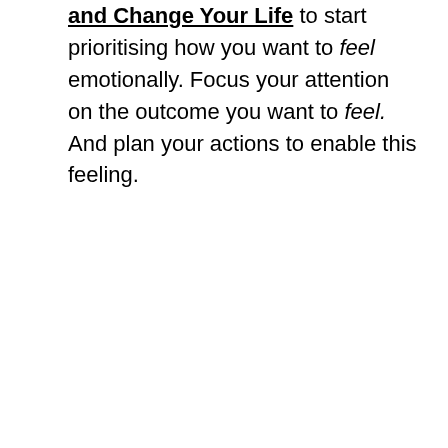and Change Your Life to start prioritising how you want to feel emotionally. Focus your attention on the outcome you want to feel. And plan your actions to enable this feeling.